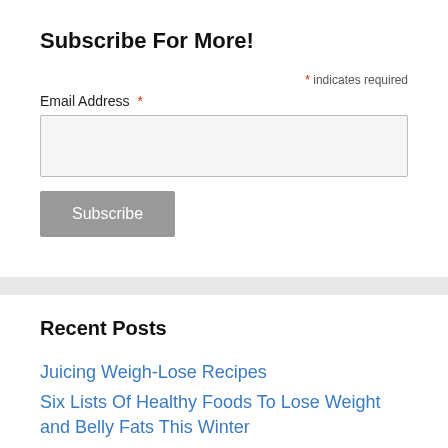Subscribe For More!
* indicates required
Email Address *
Subscribe
Recent Posts
Juicing Weigh-Lose Recipes
Six Lists Of Healthy Foods To Lose Weight and Belly Fats This Winter